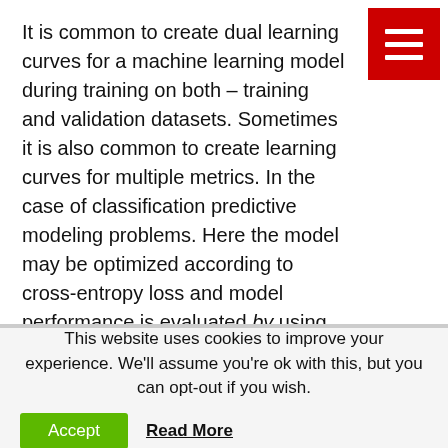It is common to create dual learning curves for a machine learning model during training on both – training and validation datasets. Sometimes it is also common to create learning curves for multiple metrics. In the case of classification predictive modeling problems. Here the model may be optimized according to cross-entropy loss and model performance is evaluated by using classification accuracy. In this case, two plots are created, one for the learning curves of each metric, one for each of the train and validation datasets. Note that each plot can show two learning curves.
This website uses cookies to improve your experience. We'll assume you're ok with this, but you can opt-out if you wish.